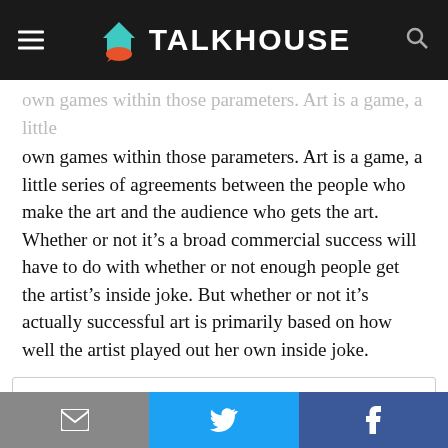TALKHOUSE
own games within those parameters. Art is a game, a little series of agreements between the people who make the art and the audience who gets the art. Whether or not it's a broad commercial success will have to do with whether or not enough people get the artist's inside joke. But whether or not it's actually successful art is primarily based on how well the artist played out her own inside joke.
Privacy & Cookies: This site uses cookies. By continuing to use this website, you agree to their use.
To find out more, including how to control cookies, see here: Cookie Policy